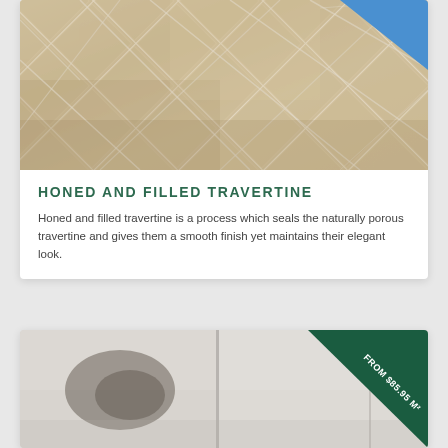[Figure (photo): Close-up photo of honed and filled travertine floor tiles in beige/cream tones, laid diagonally, with white grout lines. A blue object is visible in the top-right corner.]
HONED AND FILLED TRAVERTINE
Honed and filled travertine is a process which seals the naturally porous travertine and gives them a smooth finish yet maintains their elegant look.
[Figure (photo): Partial image of light grey/white stone or marble tiles in two panels, with a dark stain visible. A green corner ribbon banner reads 'FROM $85.95 M2'.]